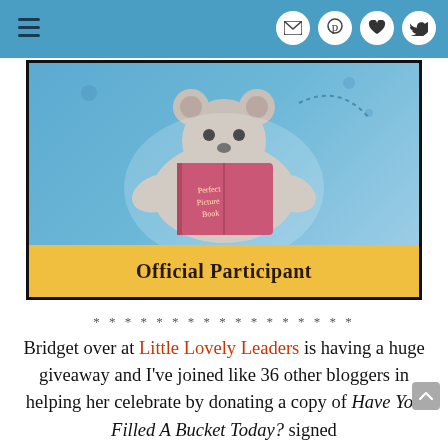Navigation bar with hamburger menu and social icons (email, Pinterest, heart, Twitter)
[Figure (illustration): A bear reading a pink book labeled 'Perfect Picture Book' on a blue background, with 'Official Participant' text on a yellow banner below]
* * * * * * * * * * * * * * * * *
Bridget over at Little Lovely Leaders is having a huge giveaway and I've joined like 36 other bloggers in helping her celebrate by donating a copy of Have You Filled A Bucket Today? signed